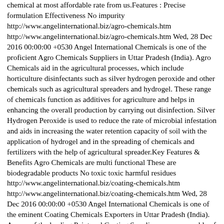chemical at most affordable rate from us.Features : Precise formulation Effectiveness No impurity http://www.angelinternational.biz/agro-chemicals.htm http://www.angelinternational.biz/agro-chemicals.htm Wed, 28 Dec 2016 00:00:00 +0530 Angel International Chemicals is one of the proficient Agro Chemicals Suppliers in Uttar Pradesh (India). Agro Chemicals aid in the agricultural processes, which include horticulture disinfectants such as silver hydrogen peroxide and other chemicals such as agricultural spreaders and hydrogel. These range of chemicals function as additives for agriculture and helps in enhancing the overall production by carrying out disinfection. Silver Hydrogen Peroxide is used to reduce the rate of microbial infestation and aids in increasing the water retention capacity of soil with the application of hydrogel and in the spreading of chemicals and fertilizers with the help of agricultural spreader.Key Features &amp; Benefits Agro Chemicals are multi functional These are biodegradable products No toxic toxic harmful residues http://www.angelinternational.biz/coating-chemicals.htm http://www.angelinternational.biz/coating-chemicals.htm Wed, 28 Dec 2016 00:00:00 +0530 Angel International Chemicals is one of the eminent Coating Chemicals Exporters in Uttar Pradesh (India). As one of the leading&nbsp;Paint and Coating Suppliers, we are capable of delivering quality products to our clients at affordable prices. We have with us an extensive assortment of coating chemicals that are processed by using the finest quality chemicals.